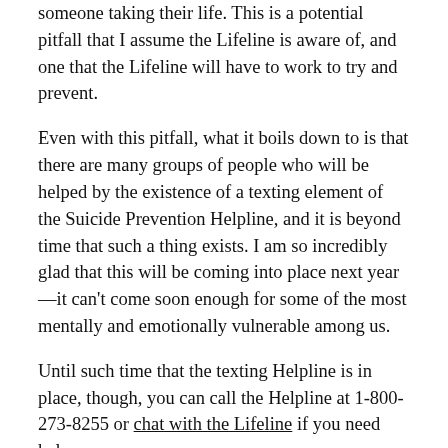someone taking their life. This is a potential pitfall that I assume the Lifeline is aware of, and one that the Lifeline will have to work to try and prevent.
Even with this pitfall, what it boils down to is that there are many groups of people who will be helped by the existence of a texting element of the Suicide Prevention Helpline, and it is beyond time that such a thing exists. I am so incredibly glad that this will be coming into place next year—it can't come soon enough for some of the most mentally and emotionally vulnerable among us.
Until such time that the texting Helpline is in place, though, you can call the Helpline at 1-800-273-8255 or chat with the Lifeline if you need help.
[1] https://abcnews.go.com/Health/fcc-decide-texting-upcoming-suicide-prevention-lifeline-988/story?